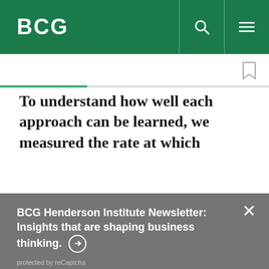BCG
To understand how well each approach can be learned, we measured the rate at which
BCG Henderson Institute Newsletter: Insights that are shaping business thinking. →
protected by reCaptcha
By using this site, you agree with our use of cookies.
I consent to cookies
Want to know more?
Read our Cookie Policy